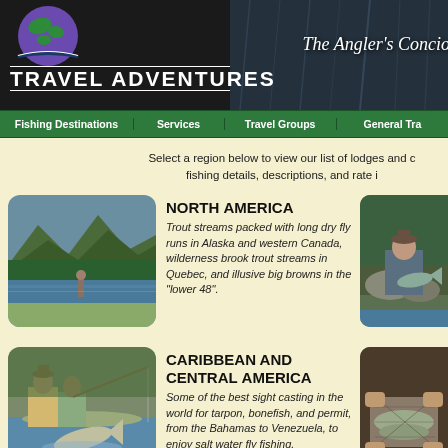Travel Adventures — The Angler's Conci...
Fishing Destinations | Services | Travel Groups | General Tra...
Select a region below to view our list of lodges and c... fishing details, descriptions, and rate i...
North America
Trout streams packed with long dry fly runs in Alaska and western Canada, wilderness brook trout streams in Quebec, and illusive big browns in the "lower 48".
Caribbean and Central America
Some of the best sight casting in the world for tarpon, bonefish, and permit, from the Bahamas to Venezuela, to enjoy salt water fly fishing.